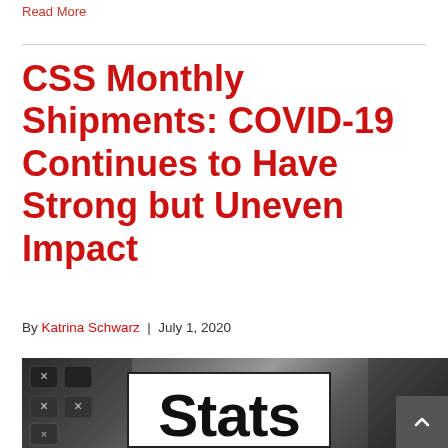Read More
CSS Monthly Shipments: COVID-19 Continues to Have Strong but Uneven Impact
By Katrina Schwarz | July 1, 2020
[Figure (photo): Photo of a calculator and pen on paper with a white overlay box containing the word 'Stats' in large bold black text, partially cut off at bottom]